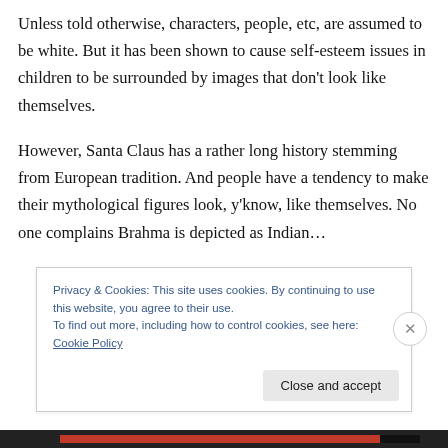Unless told otherwise, characters, people, etc, are assumed to be white. But it has been shown to cause self-esteem issues in children to be surrounded by images that don't look like themselves.
However, Santa Claus has a rather long history stemming from European tradition. And people have a tendency to make their mythological figures look, y'know, like themselves. No one complains Brahma is depicted as Indian…
Privacy & Cookies: This site uses cookies. By continuing to use this website, you agree to their use.
To find out more, including how to control cookies, see here: Cookie Policy
Close and accept